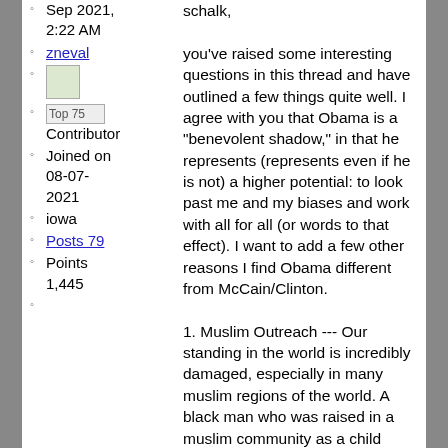Sep 2021, 2:22 AM
zneval
[image]
Top 75 Contributor
Joined on 08-07-2021
iowa
Posts 79
Points 1,445
schalk,

you've raised some interesting questions in this thread and have outlined a few things quite well. I agree with you that Obama is a "benevolent shadow," in that he represents (represents even if he is not) a higher potential: to look past me and my biases and work with all for all (or words to that effect). I want to add a few other reasons I find Obama different from McCain/Clinton.

1. Muslim Outreach --- Our standing in the world is incredibly damaged, especially in many muslim regions of the world. A black man who was raised in a muslim community as a child (and Obama seems to stay in touch with his roots) seems more able to communicate and come to humane compromises than any Bush or Clinton or McCain could even dream of. The average politician "negotiates"; My sense is that Obama would "relate." I do have confidence he will talk to our